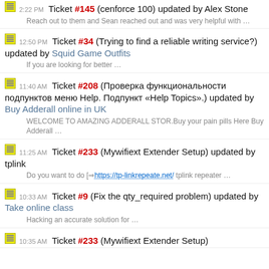2:22 PM Ticket #145 (cenforce 100) updated by Alex Stone — Reach out to them and Sean reached out and was very helpful with …
12:50 PM Ticket #34 (Trying to find a reliable writing service?) updated by Squid Game Outfits — If you are looking for better …
11:40 AM Ticket #208 (Проверка функциональности подпунктов меню Help. Подпункт «Help Topics».) updated by Buy Adderall online in UK — WELCOME TO AMAZING ADDERALL STOR.Buy your pain pills Here Buy Adderall …
11:25 AM Ticket #233 (Mywifiext Extender Setup) updated by tplink — Do you want to do [https://tp-linkrepeate.net/] tplink repeater …
10:33 AM Ticket #9 (Fix the qty_required problem) updated by Take online class — Hacking an accurate solution for …
10:35 AM Ticket #233 (Mywifiext Extender Setup)